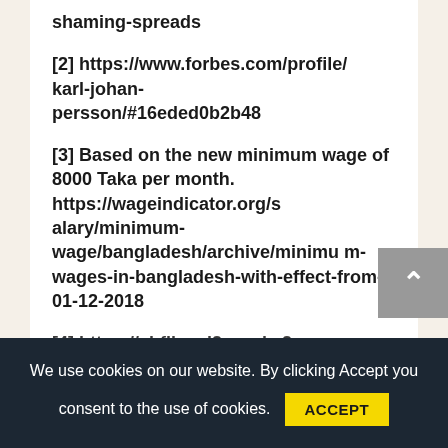shaming-spreads
[2] https://www.forbes.com/profile/karl-johan-persson/#16eded0b2b48
[3] Based on the new minimum wage of 8000 Taka per month. https://wageindicator.org/salary/minimum-wage/bangladesh/archive/minimum-wages-in-bangladesh-with-effect-from-01-12-2018
[4] https://ci-files d2 prod c2 aw...
We use cookies on our website. By clicking Accept you consent to the use of cookies.